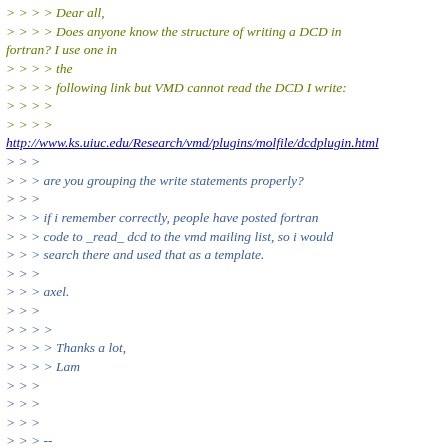> > > > Dear all,
> > > > Does anyone know the structure of writing a DCD in fortran? I use one in
> > > > the
> > > > following link but VMD cannot read the DCD I write:
> > > >
> > > >
http://www.ks.uiuc.edu/Research/vmd/plugins/molfile/dcdplugin.html
> > >
> > > are you grouping the write statements properly?
> > >
> > > if i remember correctly, people have posted fortran
> > > code to _read_ dcd to the vmd mailing list, so i would
> > > search there and used that as a template.
> > >
> > > axel.
> > >
> > > >
> > > > Thanks a lot,
> > > > Lam
> > >
> > >
> > >
> > > --
> > > Dr. Axel Kohlmeyer
> > > akohlmey_at_gmail.com  http://goo.gl/1wk0